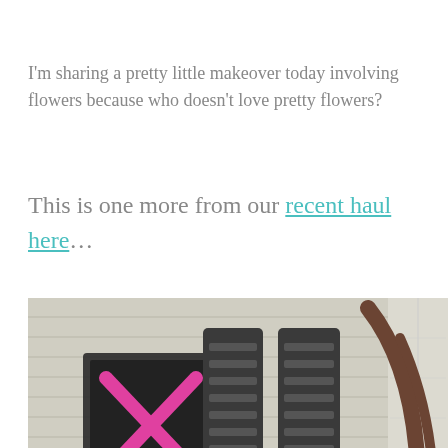I'm sharing a pretty little makeover today involving flowers because who doesn't love pretty flowers?
This is one more from our recent haul here…
[Figure (photo): Thrift store haul items on a porch/patio — includes a dark tray with pink X mark, wooden crate, wicker basket, small dark side table, large wicker basket, glass bowl on a pedestal stand, and a dark curved rack/shelf. An ad overlay at bottom shows '241 Fort Evans Rd NE, Leesburg', an infinity logo circle, a blue diamond navigation icon, and 'In-store shopping' text with checkmark.]